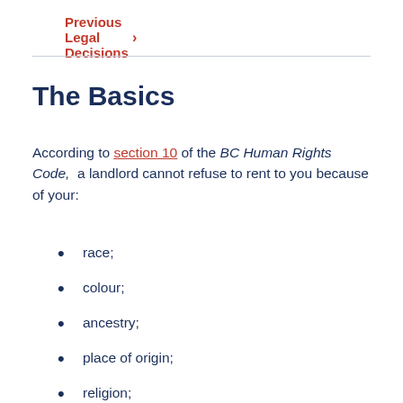Previous Legal Decisions
The Basics
According to section 10 of the BC Human Rights Code, a landlord cannot refuse to rent to you because of your:
race;
colour;
ancestry;
place of origin;
religion;
marital status;